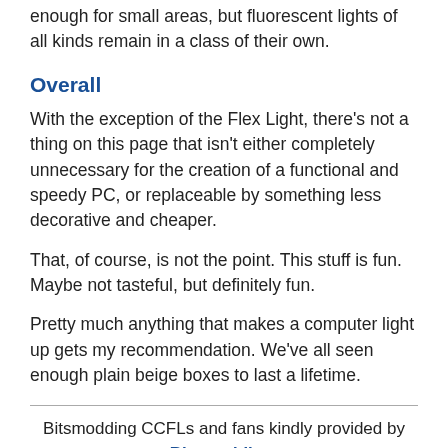enough for small areas, but fluorescent lights of all kinds remain in a class of their own.
Overall
With the exception of the Flex Light, there's not a thing on this page that isn't either completely unnecessary for the creation of a functional and speedy PC, or replaceable by something less decorative and cheaper.
That, of course, is not the point. This stuff is fun. Maybe not tasteful, but definitely fun.
Pretty much anything that makes a computer light up gets my recommendation. We've all seen enough plain beige boxes to last a lifetime.
Bitsmodding CCFLs and fans kindly provided by Bitsmodding.